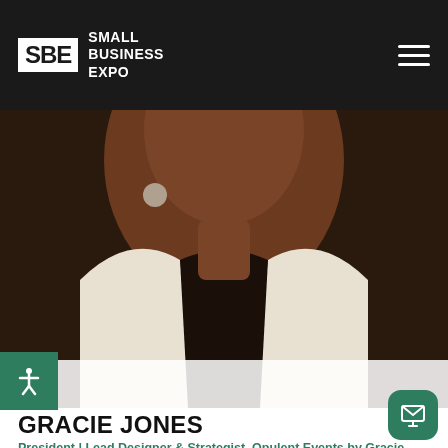SBE SMALL BUSINESS EXPO
[Figure (photo): Close-up photo of Gracie Jones, a woman wearing a white blazer and drop earrings, smiling]
GRACIE JONES
President | Lead Designer & Strategist, Opulent Events by Gracie
Gracie is a force in the event planning realm, featured on Philly's FOX 29, known as a passionate and goal-driven person who gives her best in everything she does.She's carved her name in the industry and is continua